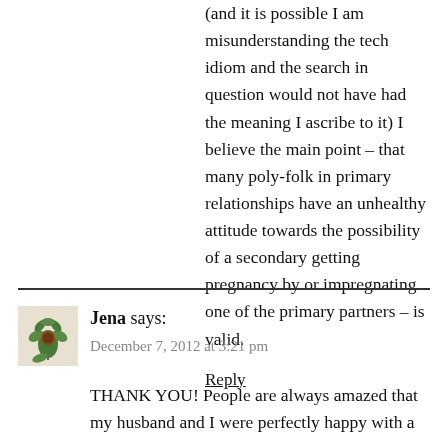(and it is possible I am misunderstanding the tech idiom and the search in question would not have had the meaning I ascribe to it) I believe the main point – that many poly-folk in primary relationships have an unhealthy attitude towards the possibility of a secondary getting pregnancy by or impregnating one of the primary partners – is valid.
Reply
Jena says:
December 7, 2012 at 3:21 pm
THANK YOU! People are always amazed that my husband and I were perfectly happy with a